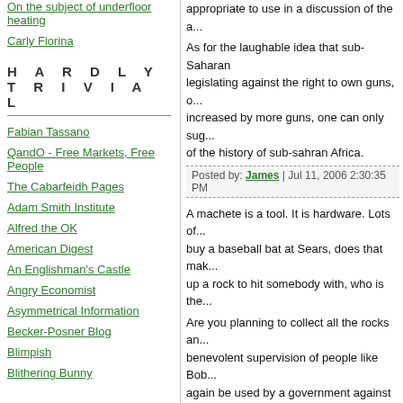On the subject of underfloor heating
Carly Fiorina
HARDLY TRIVIAL
Fabian Tassano
QandO - Free Markets, Free People
The Cabarfeidh Pages
Adam Smith Institute
Alfred the OK
American Digest
An Englishman's Castle
Angry Economist
Asymmetrical Information
Becker-Posner Blog
Blimpish
Blithering Bunny
appropriate to use in a discussion of the a...
As for the laughable idea that sub-Saharan... legislating against the right to own guns, o... increased by more guns, one can only sug... of the history of sub-sahran Africa.
Posted by: James | Jul 11, 2006 2:30:35 PM
A machete is a tool. It is hardware. Lots of... buy a baseball bat at Sears, does that mak... up a rock to hit somebody with, who is the...
Are you planning to collect all the rocks an... benevolent supervision of people like Bob... again be used by a government against ci...
Please explain how this will address real p... The civilians are already disarmed, and the... government. The civilian arms trade isn't in...
Posted by: P. Froward | Jul 11, 2006 3:58:54 PM
The large influx of small arms and light we... dominated government and militias tipped...